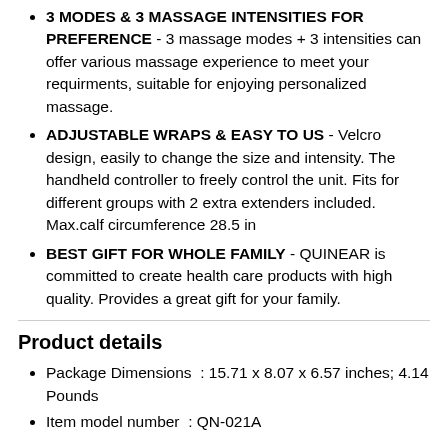3 MODES & 3 MASSAGE INTENSITIES FOR PREFERENCE - 3 massage modes + 3 intensities can offer various massage experience to meet your requirments, suitable for enjoying personalized massage.
ADJUSTABLE WRAPS & EASY TO US - Velcro design, easily to change the size and intensity. The handheld controller to freely control the unit. Fits for different groups with 2 extra extenders included. Max.calf circumference 28.5 in
BEST GIFT FOR WHOLE FAMILY - QUINEAR is committed to create health care products with high quality. Provides a great gift for your family.
Product details
Package Dimensions  : 15.71 x 8.07 x 6.57 inches; 4.14 Pounds
Item model number  : QN-021A